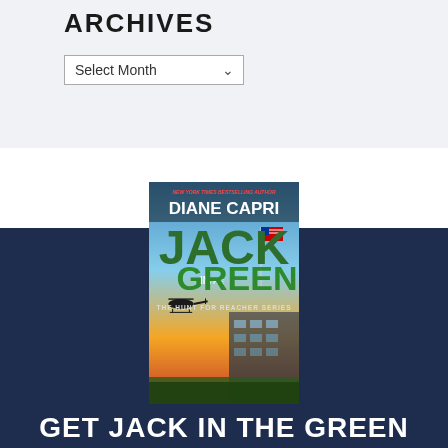ARCHIVES
Select Month
[Figure (illustration): Book cover for 'Jack in the Green' by Diane Capri, part of The Hunt for Reacher Series. Cover shows a building, helicopter, and American flag against a sunset sky. Author name appears in white text at top, book title in large green letters, series name at bottom.]
GET JACK IN THE GREEN